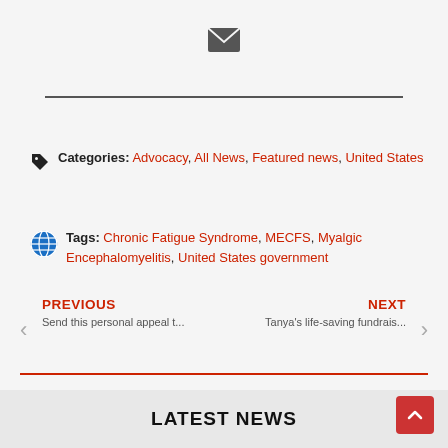[Figure (illustration): Email envelope icon in dark gray]
Categories: Advocacy, All News, Featured news, United States
Tags: Chronic Fatigue Syndrome, MECFS, Myalgic Encephalomyelitis, United States government
PREVIOUS
Send this personal appeal t...
NEXT
Tanya's life-saving fundrais...
LATEST NEWS